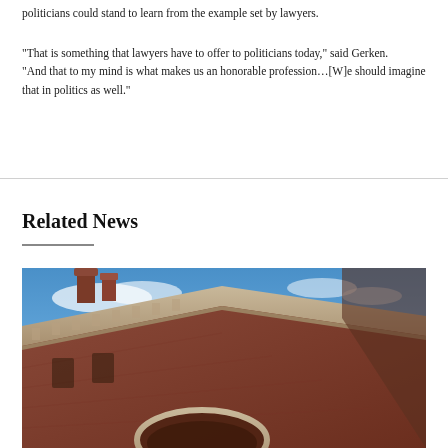politicians could stand to learn from the example set by lawyers.
“That is something that lawyers have to offer to politicians today,” said Gerken. “And that to my mind is what makes us an honorable profession…[W]e should imagine that in politics as well.”
Related News
[Figure (photo): Upward angled exterior photograph of a historic brick and stone university building with arched windows and decorative cornices against a blue sky with light clouds.]